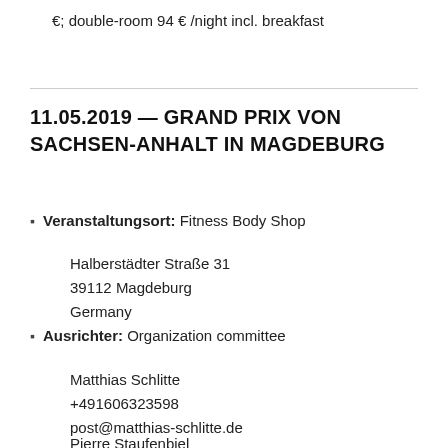€; double-room 94 € /night incl. breakfast
11.05.2019 — GRAND PRIX VON SACHSEN-ANHALT IN MAGDEBURG
Veranstaltungsort: Fitness Body Shop
Halberstädter Straße 31
39112 Magdeburg
Germany
Ausrichter: Organization committee
Matthias Schlitte
+491606323598
post@matthias-schlitte.de
Pierre Staufenbiel